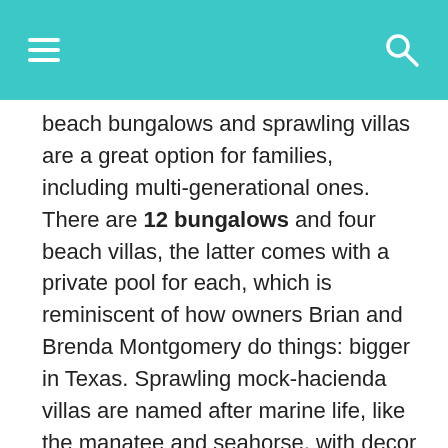Navigation bar with menu and search icons
beach bungalows and sprawling villas are a great option for families, including multi-generational ones. There are 12 bungalows and four beach villas, the latter comes with a private pool for each, which is reminiscent of how owners Brian and Brenda Montgomery do things: bigger in Texas. Sprawling mock-hacienda villas are named after marine life, like the manatee and seahorse, with decor to match.
[Figure (photo): Exterior photo of a beach villa or bungalow with terra cotta tile roof, beige/tan walls, green trees in foreground, and a dark post in the center. Overcast sky.]